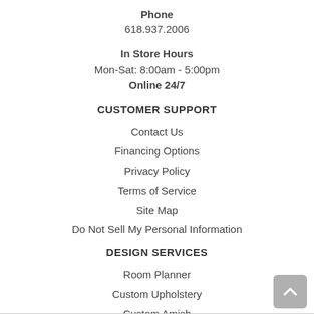Phone
618.937.2006
In Store Hours
Mon-Sat: 8:00am - 5:00pm
Online 24/7
CUSTOMER SUPPORT
Contact Us
Financing Options
Privacy Policy
Terms of Service
Site Map
Do Not Sell My Personal Information
DESIGN SERVICES
Room Planner
Custom Upholstery
Custom Amish